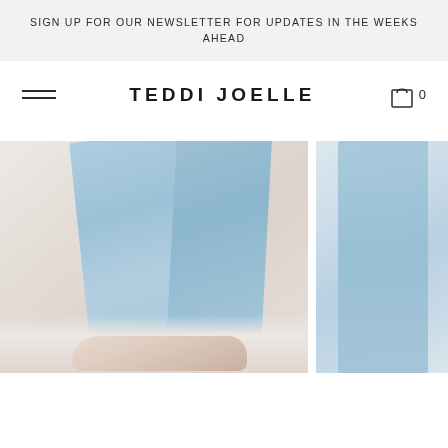SIGN UP FOR OUR NEWSLETTER FOR UPDATES IN THE WEEKS AHEAD
TEDDI JOELLE
[Figure (photo): Close-up product photo of light blue denim jeans with nude/blush flat shoes on a light background]
[Figure (photo): Partial product photo of light blue denim jeans, cropped on the right side of the page]